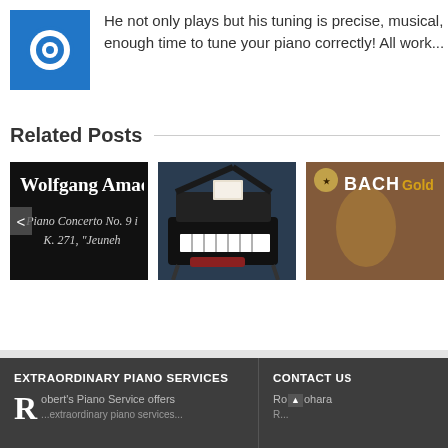[Figure (logo): Blue square logo with white circular target/bullseye icon]
He not only plays but his tuning is precise, musical, enough time to tune your piano correctly! All work...
Related Posts
[Figure (photo): Black background thumbnail with text: Wolfgang Amade... Piano Concerto No. 9 i... K. 271, "Jeuneh..." with a left navigation arrow]
[Figure (photo): Dark blue photo of a grand piano with open lid and sheet music on stand]
[Figure (photo): Dark brown/warm thumbnail with BACH Gold... text and a decorative badge icon]
EXTRAORDINARY PIANO SERVICES
CONTACT US
Robert's Piano Service offers
Ro... ohara...